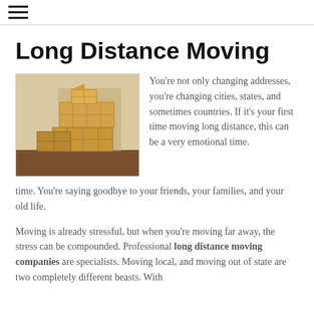☰
Long Distance Moving
[Figure (photo): Stack of cardboard moving boxes on a wooden surface]
You're not only changing addresses, you're changing cities, states, and sometimes countries. If it's your first time moving long distance, this can be a very emotional time. You're saying goodbye to your friends, your families, and your old life.
Moving is already stressful, but when you're moving far away, the stress can be compounded. Professional long distance moving companies are specialists. Moving local, and moving out of state are two completely different beasts. With